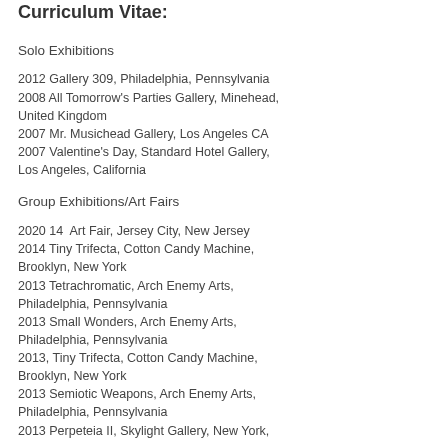Curriculum Vitae:
Solo Exhibitions
2012 Gallery 309, Philadelphia, Pennsylvania
2008 All Tomorrow's Parties Gallery, Minehead, United Kingdom
2007 Mr. Musichead Gallery, Los Angeles CA
2007 Valentine's Day, Standard Hotel Gallery, Los Angeles, California
Group Exhibitions/Art Fairs
2020 14  Art Fair, Jersey City, New Jersey
2014 Tiny Trifecta, Cotton Candy Machine, Brooklyn, New York
2013 Tetrachromatic, Arch Enemy Arts, Philadelphia, Pennsylvania
2013 Small Wonders, Arch Enemy Arts, Philadelphia, Pennsylvania
2013, Tiny Trifecta, Cotton Candy Machine, Brooklyn, New York
2013 Semiotic Weapons, Arch Enemy Arts, Philadelphia, Pennsylvania
2013 Perpeteia II, Skylight Gallery, New York,